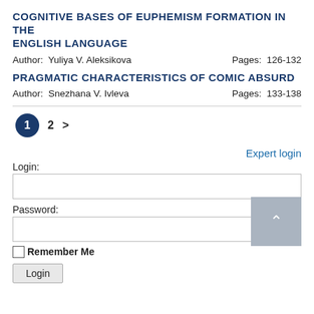COGNITIVE BASES OF EUPHEMISM FORMATION IN THE ENGLISH LANGUAGE
Author:  Yuliya V. Aleksikova    Pages:  126-132
PRAGMATIC CHARACTERISTICS OF COMIC ABSURD
Author:  Snezhana V. Ivleva    Pages:  133-138
1  2  >
Expert login
Login:
Password:
Remember Me
Login